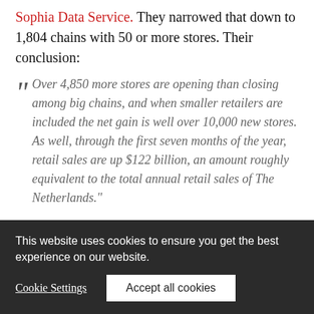Sophia Data Service. They narrowed that down to 1,804 chains with 50 or more stores. Their conclusion:
"Over 4,850 more stores are opening than closing among big chains, and when smaller retailers are included the net gain is well over 10,000 new stores. As well, through the first seven months of the year, retail sales are up $122 billion, an amount roughly equivalent to the total annual retail sales of The Netherlands."
This website uses cookies to ensure you get the best experience on our website.
Cookie Settings
Accept all cookies